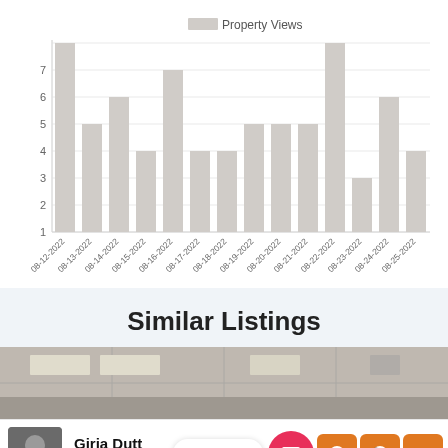[Figure (bar-chart): Property Views]
Similar Listings
[Figure (photo): Interior ceiling photo of a commercial space showing recessed lighting panels and drop ceiling tiles]
Contact us
Girja Dutt Dabral